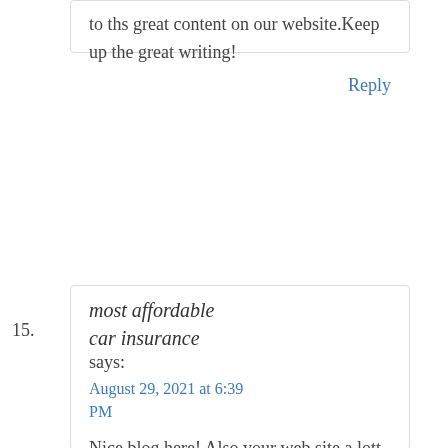to ths great content on our website.Keep up the great writing!
Reply
15.
most affordable car insurance says:
August 29, 2021 at 6:39 PM
Nice blog here! Also your web site a lott up very fast! Idesire my ste loadded up as